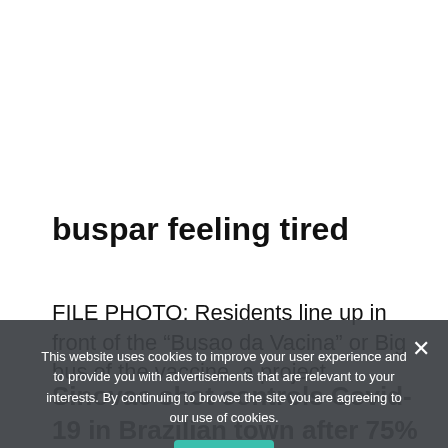buspar feeling tired
FILE PHOTO: Residents line up in front of the “Busao da Vacina” or Big bus of the vaccine, a project
This website uses cookies to improve your user experience and to provide you with advertisements that are relevant to your interests. By continuing to browse the site you are agreeing to our use of cookies.
Sinovac shot controls Covid-19 in Brazilian town after 75% covered